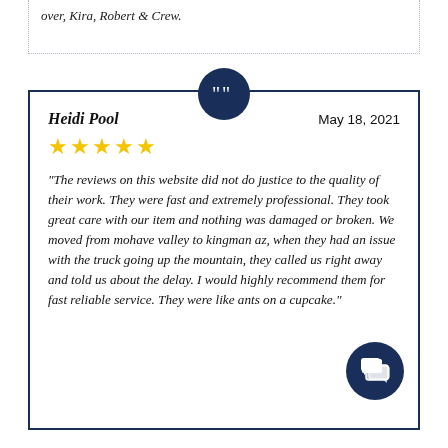over, Kira, Robert & Crew.
Heidi Pool    May 18, 2021
★★★★★
"The reviews on this website did not do justice to the quality of their work. They were fast and extremely professional. They took great care with our item and nothing was damaged or broken. We moved from mohave valley to kingman az, when they had an issue with the truck going up the mountain, they called us right away and told us about the delay. I would highly recommend them for fast reliable service. They were like ants on a cupcake."